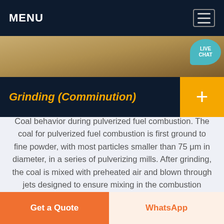MENU
[Figure (photo): Hero image showing coal/soil texture background strip]
Grinding (Comminution)
Coal behavior during pulverized fuel combustion. The coal for pulverized fuel combustion is first ground to fine powder, with most particles smaller than 75 μm in diameter, in a series of pulverizing mills. After grinding, the coal is mixed with preheated air and blown through jets designed to ensure mixing in the combustion chamber.
Get a Quote | WhatsApp